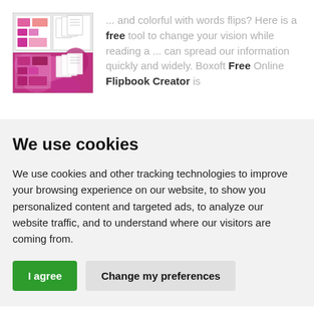[Figure (screenshot): Screenshot of a software interface showing a colorful flipbook creator application with pink/magenta design elements and document pages displayed.]
... and colorful with words flips? Here is a free tool to change your vision while reading a ... can spread our information quickly and widely. Boxoft Free Online Flipbook Creator is
We use cookies
We use cookies and other tracking technologies to improve your browsing experience on our website, to show you personalized content and targeted ads, to analyze our website traffic, and to understand where our visitors are coming from.
I agree   Change my preferences